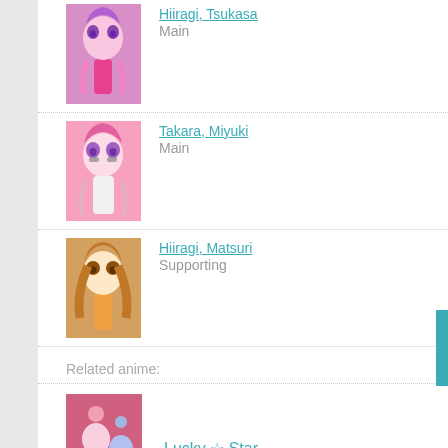[Figure (illustration): Anime character thumbnail: Hiiragi Tsukasa, purple-haired girl in pink outfit]
Hiiragi, Tsukasa
Main
[Figure (illustration): Anime character thumbnail: Takara Miyuki, pink-haired girl with glasses]
Takara, Miyuki
Main
[Figure (illustration): Anime character thumbnail: Hiiragi Matsuri, brown-haired girl]
Hiiragi, Matsuri
Supporting
Related anime:
[Figure (illustration): Lucky Star anime cover art]
Lucky ☆ Star
[Figure (illustration): Miyakawa-ke no Kuufuku anime cover art]
Miyakawa-ke no Kuufuku